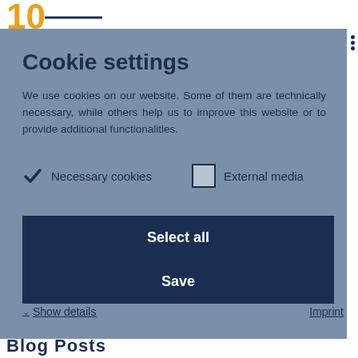[Figure (screenshot): Website logo showing '10' in orange/gold color at top left]
[Figure (screenshot): Cookie settings modal dialog with blue-grey background overlay]
Cookie settings
We use cookies on our website. Some of them are technically necessary, while others help us to improve this website or to provide additional functionalities.
Necessary cookies (checked) | External media (unchecked)
Select all
Save
Show details
Imprint
Blog Posts